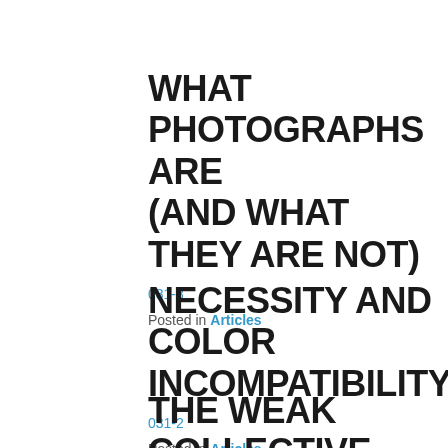WHAT PHOTOGRAPHS ARE (AND WHAT THEY ARE NOT)
031-3
Posted in Articles
NECESSITY AND COLOR INCOMPATIBILITY
031-2
Posted in Articles
THE WEAK COLLECTIVE